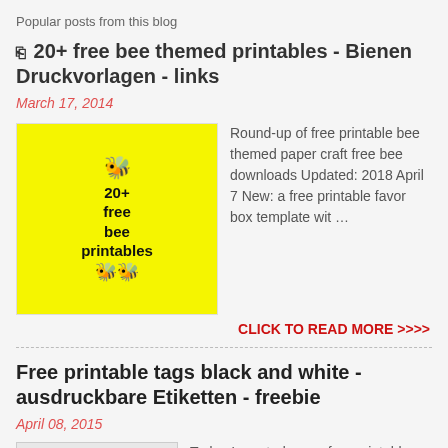Popular posts from this blog
☞ 20+ free bee themed printables - Bienen Druckvorlagen - links
March 17, 2014
[Figure (illustration): Yellow background image with text '20+ free bee printables' and bee illustrations]
Round-up of free printable bee themed paper craft free bee downloads Updated: 2018 April 7 New: a free printable favor box template wit …
CLICK TO READ MORE >>>>
Free printable tags black and white - ausdruckbare Etiketten - freebie
April 08, 2015
[Figure (illustration): Thumbnail image of printable blank tags in black and white]
Today I created some free printable blank tags in black and white for you. I've chosen various